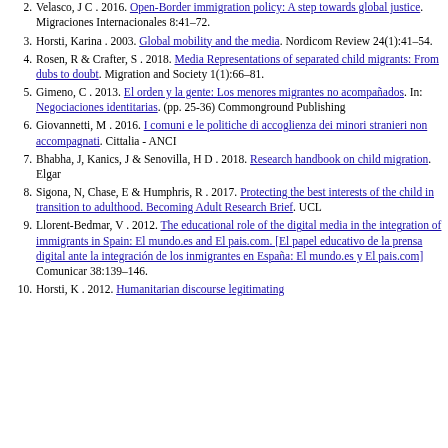2019. Imprenta Nacional de la Agencia Estatal Boletín Oficial del Estado
Velasco, J C . 2016. Open-Border immigration policy: A step towards global justice. Migraciones Internacionales 8:41–72.
Horsti, Karina . 2003. Global mobility and the media. Nordicom Review 24(1):41–54.
Rosen, R & Crafter, S . 2018. Media Representations of separated child migrants: From dubs to doubt. Migration and Society 1(1):66–81.
Gimeno, C . 2013. El orden y la gente: Los menores migrantes no acompañados. In: Negociaciones identitarias. (pp. 25-36) Commonground Publishing
Giovannetti, M . 2016. I comuni e le politiche di accoglienza dei minori stranieri non accompagnati. Cittalia - ANCI
Bhabha, J, Kanics, J & Senovilla, H D . 2018. Research handbook on child migration. Elgar
Sigona, N, Chase, E & Humphris, R . 2017. Protecting the best interests of the child in transition to adulthood. Becoming Adult Research Brief. UCL
Llorent-Bedmar, V . 2012. The educational role of the digital media in the integration of immigrants in Spain: El mundo.es and El pais.com. [El papel educativo de la prensa digital ante la integración de los inmigrantes en España: El mundo.es y El pais.com] Comunicar 38:139–146.
Horsti, K . 2012. Humanitarian discourse legitimating migration control: FRONTEX public communication. In: ...